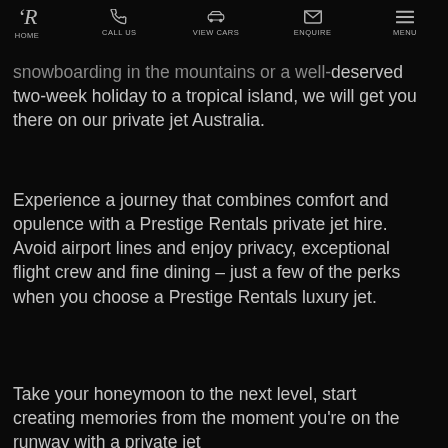HOME | CALL US | VIEW CARS | ENQUIRE | MENU
snowboarding in the mountains or a well-deserved two-week holiday to a tropical island, we will get you there on our private jet Australia.
Experience a journey that combines comfort and opulence with a Prestige Rentals private jet hire. Avoid airport lines and enjoy privacy, exceptional flight crew and fine dining – just a few of the perks when you choose a Prestige Rentals luxury jet.
Take your honeymoon to the next level, start creating memories from the moment you're on the runway with a private jet